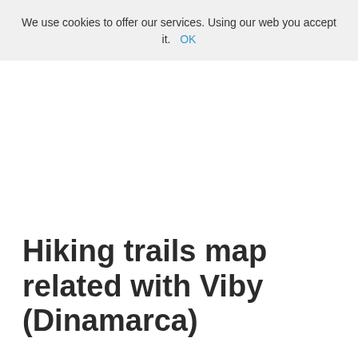We use cookies to offer our services. Using our web you accept it. OK
Hiking trails map related with Viby (Dinamarca)